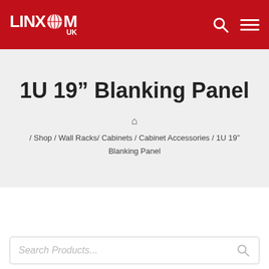LINXCOM UK
1U 19” Blanking Panel
/ Shop / Wall Racks/ Cabinets / Cabinet Accessories / 1U 19” Blanking Panel
Search Products...